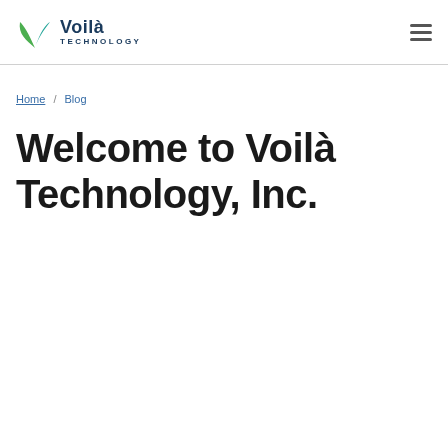Voilà Technology
Home / Blog
Welcome to Voilà Technology, Inc.